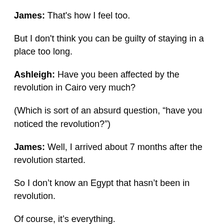James: That's how I feel too.
But I don't think you can be guilty of staying in a place too long.
Ashleigh: Have you been affected by the revolution in Cairo very much?
(Which is sort of an absurd question, “have you noticed the revolution?”)
James: Well, I arrived about 7 months after the revolution started.
So I don’t know an Egypt that hasn’t been in revolution.
Of course, it’s everything.
Apart from the demonstrations, which are quite localised